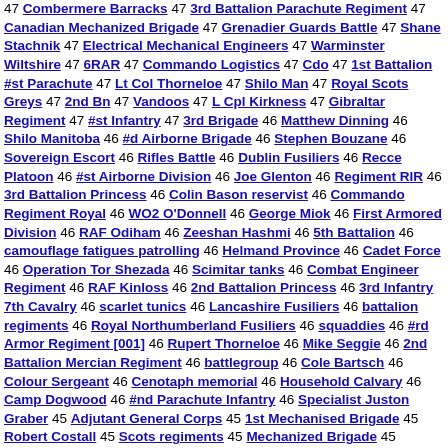47 Combermere Barracks 47 3rd Battalion Parachute Regiment 47 Canadian Mechanized Brigade 47 Grenadier Guards Battle 47 Shane Stachnik 47 Electrical Mechanical Engineers 47 Warminster Wiltshire 47 6RAR 47 Commando Logistics 47 Cdo 47 1st Battalion #st Parachute 47 Lt Col Thorneloe 47 Shilo Man 47 Royal Scots Greys 47 2nd Bn 47 Vandoos 47 L Cpl Kirkness 47 Gibraltar Regiment 47 #st Infantry 47 3rd Brigade 46 Matthew Dinning 46 Shilo Manitoba 46 #d Airborne Brigade 46 Stephen Bouzane 46 Sovereign Escort 46 Rifles Battle 46 Dublin Fusiliers 46 Recce Platoon 46 #st Airborne Division 46 Joe Glenton 46 Regiment RIR 46 3rd Battalion Princess 46 Colin Bason reservist 46 Commando Regiment Royal 46 WO2 O'Donnell 46 George Miok 46 First Armored Division 46 RAF Odiham 46 Zeeshan Hashmi 46 5th Battalion 46 camouflage fatigues patrolling 46 Helmand Province 46 Cadet Force 46 Operation Tor Shezada 46 Scimitar tanks 46 Combat Engineer Regiment 46 RAF Kinloss 46 2nd Battalion Princess 46 3rd Infantry 7th Cavalry 46 scarlet tunics 46 Lancashire Fusiliers 46 battalion regiments 46 Royal Northumberland Fusiliers 46 squaddies 46 #rd Armor Regiment [001] 46 Rupert Thorneloe 46 Mike Seggie 46 2nd Battalion Mercian Regiment 46 battlegroup 46 Cole Bartsch 46 Colour Sergeant 46 Cenotaph memorial 46 Household Calvary 46 Camp Dogwood 46 #nd Parachute Infantry 46 Specialist Juston Graber 45 Adjutant General Corps 45 1st Mechanised Brigade 45 Robert Costall 45 Scots regiments 45 Mechanized Brigade 45 Christopher Stannin 45 Lance Corporals 45 Van Doo 45 #nd Stryker 45 Danny